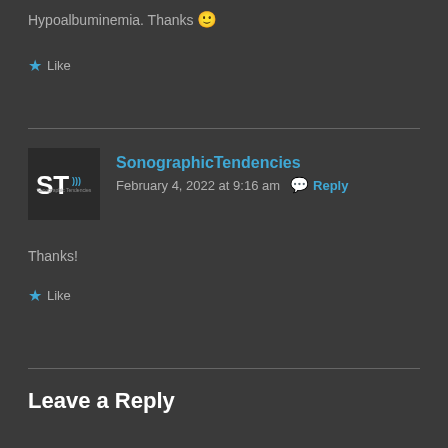Hypoalbuminemia. Thanks 🙂
★ Like
SonographicTendencies
February 4, 2022 at 9:16 am   💬 Reply
Thanks!
★ Like
Leave a Reply